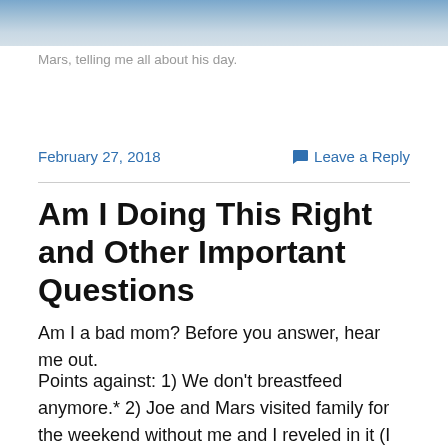[Figure (photo): Partial photo showing people, cropped at top of page]
Mars, telling me all about his day.
February 27, 2018
Leave a Reply
Am I Doing This Right and Other Important Questions
Am I a bad mom? Before you answer, hear me out.
Points against: 1) We don't breastfeed anymore.* 2) Joe and Mars visited family for the weekend without me and I reveled in it (I did have the stomach flu the whole time, so my revelry looked more like… er… death.) 3) I don't love